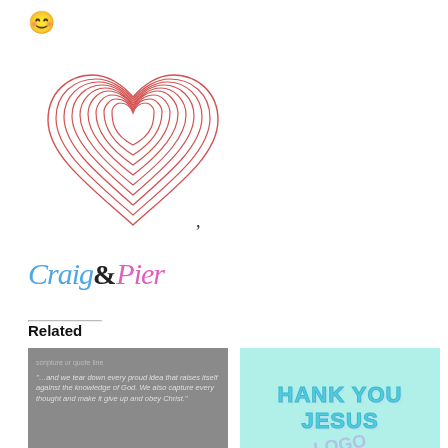[Figure (logo): Yellow smiley face emoji icon in top-left corner]
[Figure (logo): Craig and Pier logo: red hand-drawn heart illustration above stylized text 'Craig&Pier' where Craig is in blue italic, & is bold black, and Pier is in pink/magenta italic, with a comma after the heart]
Related
[Figure (photo): Gray thumbnail image with white italic text: '...and we tear down every proud idea that raises itself against the knowledge of God. We also capture every thought and make it give up and obey Christ.']
Captivated Thoughts
February 1, 2015
In "Thirsty For Christ
[Figure (photo): Mint green/aqua thumbnail with bold teal outlined text 'THANK YOU JESUS' and faint purple watermark overlay]
Pack!
August 5, 2014
In "TTC Tuesday"